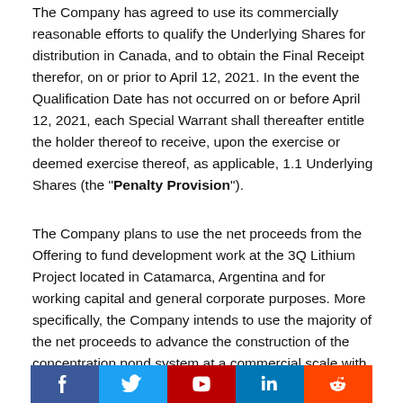The Company has agreed to use its commercially reasonable efforts to qualify the Underlying Shares for distribution in Canada, and to obtain the Final Receipt therefor, on or prior to April 12, 2021. In the event the Qualification Date has not occurred on or before April 12, 2021, each Special Warrant shall thereafter entitle the holder thereof to receive, upon the exercise or deemed exercise thereof, as applicable, 1.1 Underlying Shares (the "Penalty Provision").
The Company plans to use the net proceeds from the Offering to fund development work at the 3Q Lithium Project located in Catamarca, Argentina and for working capital and general corporate purposes. More specifically, the Company intends to use the majority of the net proceeds to advance the construction of the concentration pond system at a commercial scale with a view to accelerating future production from the 3Q Project.
As consideration for the Underwriters services in connection with
[Figure (other): Social media icons bar: Facebook, Twitter, YouTube, LinkedIn, Reddit]